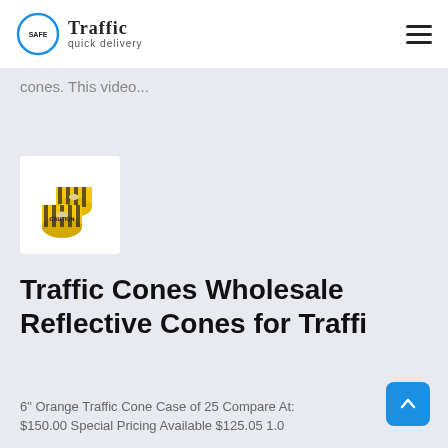Safe Traffic quick delivery
cones. This video...
[Figure (photo): Two rolls of yellow caution tape with 'CAUTION' text printed in black]
Traffic Cones Wholesale Reflective Cones for Traffi
6" Orange Traffic Cone Case of 25 Compare At:
$150.00 Special Pricing Available $125.05 1.0